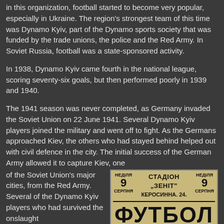in this organization, football started to become very popular, especially in Ukraine. The region's strongest team of this time was Dynamo Kyiv, part of the Dynamo sports society that was funded by the trade unions, the police and the Red Army. In Soviet Russia, football was a state-sponsored activity.
In 1938, Dynamo Kyiv came fourth in the national league, scoring seventy-six goals, but then performed poorly in 1939 and 1940.
The 1941 season was never completed, as Germany invaded the Soviet Union on 22 June 1941. Several Dynamo Kyiv players joined the military and went off to fight. As the Germans approached Kiev, the others who had stayed behind helped out with civil defence in the city. The initial success of the German Army allowed it to capture Kiev, one of the Soviet Union's major cities, from the Red Army. Several of the Dynamo Kyiv players who had survived the onslaught
[Figure (photo): A vintage Ukrainian football poster for Stadion Zenit, Kerosinna 24, showing НЕДIЛЯ 9 СЕРПНЯ (Sunday 9 August) and the word ФУТБОЛ in large bold letters on a yellow/cream background.]